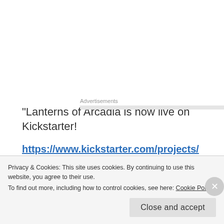Advertisements
“Lanterns of Arcadia is now live on Kickstarter!
https://www.kickstarter.com/projects/spaceturtleart/lanterns-of-arcadia-volume-1
www.lanternsofarcadia.com is a fantasy mystery in which a scientist and a dragon team up to stop demons from destroying a magical library.
Privacy & Cookies: This site uses cookies. By continuing to use this website, you agree to their use.
To find out more, including how to control cookies, see here: Cookie Policy
Close and accept